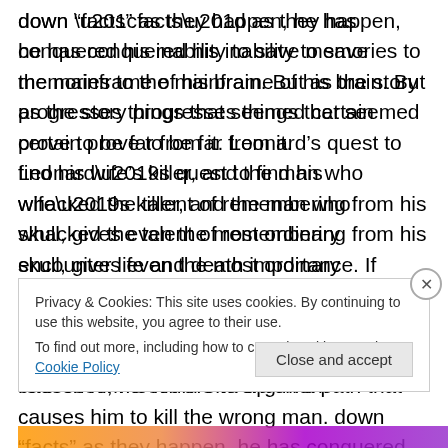down “facts” as they happen, he has conquered his inability to save memories to the mainframe of his brain. But as the story progresses things that seemed certain prove to be far from it. Leonard’s quest to find his wife’s killer, and the man who whacked the talent of remembering from his skull, gives even the most ordinary encounter life and death importance. If Leonard draws the wrong conclusion from something and writes it down for future reference, he could end up on a path that causes him to kill the wrong man.
Privacy & Cookies: This site uses cookies. By continuing to use this website, you agree to their use.
To find out more, including how to control cookies, see here: Cookie Policy